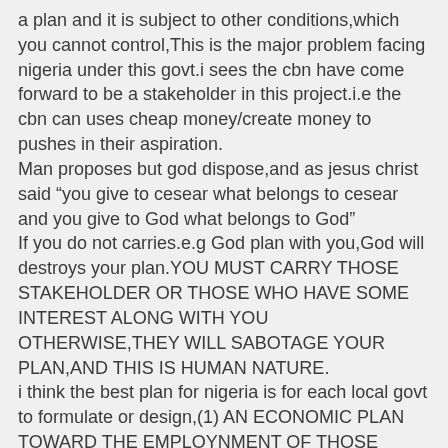a plan and it is subject to other conditions,which you cannot control,This is the major problem facing nigeria under this govt.i sees the cbn have come forward to be a stakeholder in this project.i.e the cbn can uses cheap money/create money to pushes in their aspiration.
Man proposes but god dispose,and as jesus christ said "you give to cesear what belongs to cesear and you give to God what belongs to God"
If you do not carries.e.g God plan with you,God will destroys your plan.YOU MUST CARRY THOSE STAKEHOLDER OR THOSE WHO HAVE SOME INTEREST ALONG WITH YOU OTHERWISE,THEY WILL SABOTAGE YOUR PLAN,AND THIS IS HUMAN NATURE.
i think the best plan for nigeria is for each local govt to formulate or design,(1) AN ECONOMIC PLAN TOWARD THE EMPLOYNMENT OF THOSE UNEMPLOYED YOUTH (2) A INVESTMENT AND COMPETITIVE AND CREATING A BUSINESS FRIENDLY ENVIROMENT (3) CAN EACH LGA BUILT SOME COMMUNITY UNIVERSITY OR